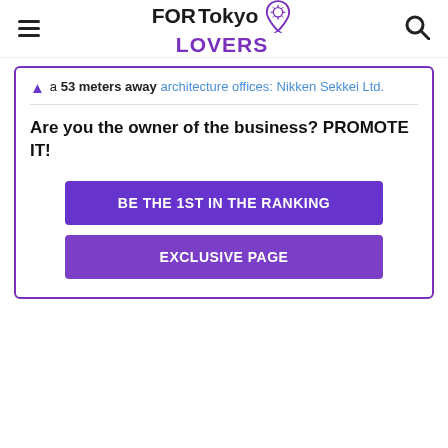FORTokyo LOVERS
a 53 meters away architecture offices: Nikken Sekkei Ltd.
Are you the owner of the business? PROMOTE IT!
BE THE 1ST IN THE RANKING
EXCLUSIVE PAGE